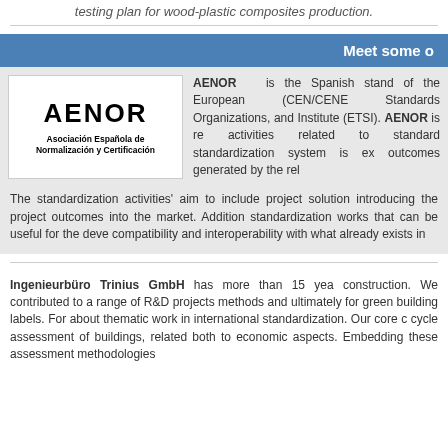testing plan for wood-plastic composites production.
Meet some o
[Figure (logo): AENOR logo - Asociación Española de Normalización y Certificación]
AENOR  is the Spanish stand of the European (CEN/CENE Standards Organizations, and Institute (ETSI). AENOR is re activities related to standard standardization system is ex outcomes generated by the rel
The standardization activities' aim to include project solution introducing the project outcomes into the market. Addition standardization works that can be useful for the deve compatibility and interoperability with what already exists in
Ingenieurbüro Trinius GmbH has more than 15 yea construction. We contributed to a range of R&D projects methods and ultimately for green building labels. For about thematic work in international standardization. Our core c cycle assessment of buildings, related both to economic aspects. Embedding these assessment methodologies